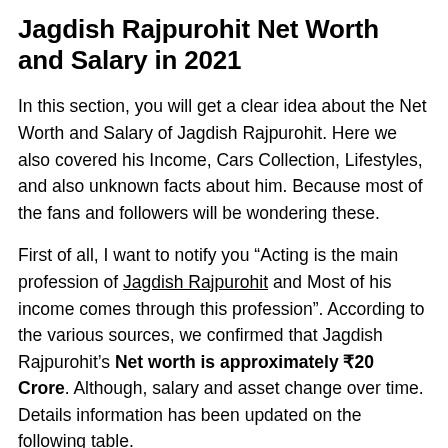Jagdish Rajpurohit Net Worth and Salary in 2021
In this section, you will get a clear idea about the Net Worth and Salary of Jagdish Rajpurohit. Here we also covered his Income, Cars Collection, Lifestyles, and also unknown facts about him. Because most of the fans and followers will be wondering these.
First of all, I want to notify you “Acting is the main profession of Jagdish Rajpurohit and Most of his income comes through this profession”. According to the various sources, we confirmed that Jagdish Rajpurohit’s Net worth is approximately ₹20 Crore. Although, salary and asset change over time. Details information has been updated on the following table.